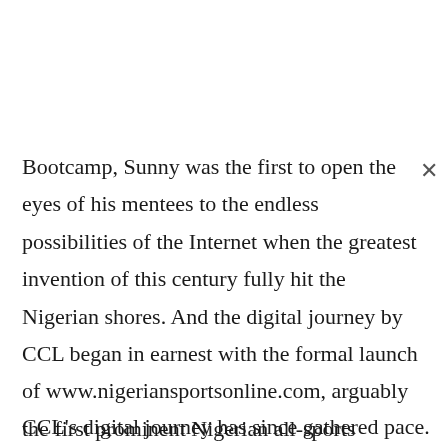Bootcamp, Sunny was the first to open the eyes of his mentees to the endless possibilities of the Internet when the greatest invention of this century fully hit the Nigerian shores. And the digital journey by CCL began in earnest with the formal launch of www.nigeriansportsonline.com, arguably the first prominent Nigerian all-sports website. That site has now transformed into www.completesports.com, which is the foremost local sports website in Nigeria today.
CCL's digital journey has since gathered pace. The